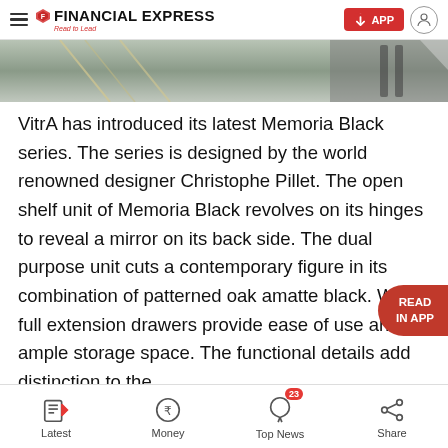Financial Express — Read to Lead | APP button | User icon
[Figure (photo): Partial photo of furniture/interior design item, cropped at top of page]
VitrA has introduced its latest Memoria Black series. The series is designed by the world renowned designer Christophe Pillet. The open shelf unit of Memoria Black revolves on its hinges to reveal a mirror on its back side. The dual purpose unit cuts a contemporary figure in its combination of patterned oak and matte black. Wide full extension drawers provide ease of use and ample storage space. The functional details add distinction to the
Latest | Money | Top News (23) | Share